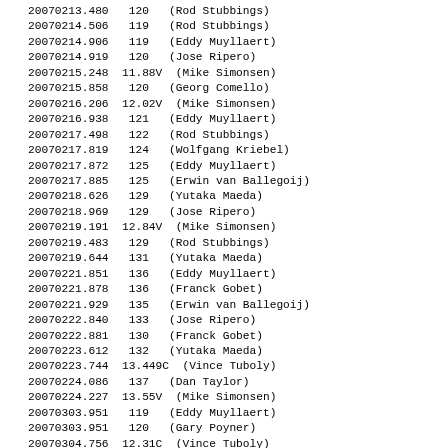20070213.480   120   (Rod Stubbings)
20070214.506   119   (Rod Stubbings)
20070214.906   119   (Eddy Muyllaert)
20070214.919   120   (Jose Ripero)
20070215.248  11.88V  (Mike Simonsen)
20070215.858   120   (Georg Comello)
20070216.206  12.02V  (Mike Simonsen)
20070216.938   121   (Eddy Muyllaert)
20070217.498   122   (Rod Stubbings)
20070217.819   124   (Wolfgang Kriebel)
20070217.872   125   (Eddy Muyllaert)
20070217.885   125   (Erwin van Ballegoij)
20070218.626   129   (Yutaka Maeda)
20070218.969   129   (Jose Ripero)
20070219.191  12.84V  (Mike Simonsen)
20070219.483   129   (Rod Stubbings)
20070219.644   131   (Yutaka Maeda)
20070221.851   136   (Eddy Muyllaert)
20070221.878   136   (Franck Gobet)
20070221.929   135   (Erwin van Ballegoij)
20070222.840   133   (Jose Ripero)
20070222.881   130   (Franck Gobet)
20070223.612   132   (Yutaka Maeda)
20070223.744  13.449C  (Vince Tuboly)
20070224.086   137   (Dan Taylor)
20070224.227  13.55V  (Mike Simonsen)
20070303.951   119   (Eddy Muyllaert)
20070303.951   120   (Gary Poyner)
20070304.756  12.31C  (Vince Tuboly)
20070306.616   116   (Yutaka Maeda)